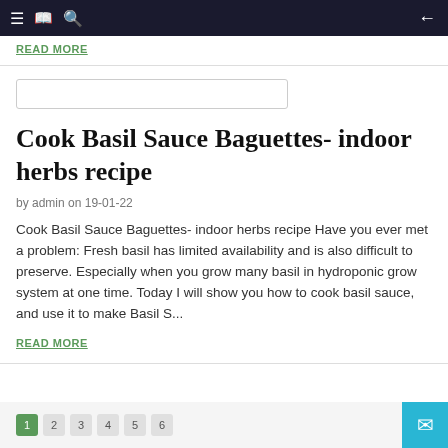≡  [book icon]  🔍  ←
READ MORE
[Figure (screenshot): Empty search input box with border]
Cook Basil Sauce Baguettes- indoor herbs recipe
by admin on 19-01-22
Cook Basil Sauce Baguettes- indoor herbs recipe Have you ever met a problem: Fresh basil has limited availability and is also difficult to preserve. Especially when you grow many basil in hydroponic grow system at one time. Today I will show you how to cook basil sauce, and use it to make Basil S...
READ MORE